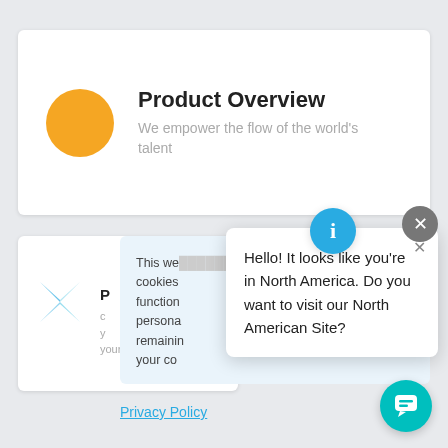[Figure (logo): Orange circle icon]
Product Overview
We empower the flow of the world's talent
[Figure (logo): Blue bowtie / double-chevron icon]
P (partially visible bold heading)
This we... cookies function... persona... remaining... your co... (cookie consent text, partially obscured)
[Figure (infographic): Blue info circle icon with 'i']
[Figure (infographic): Gray circle with X close button]
Hello! It looks like you're in North America. Do you want to visit our North American Site?
Privacy Policy
[Figure (infographic): Teal chat bubble button]